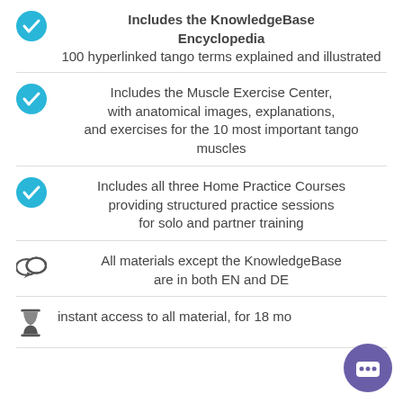Includes the KnowledgeBase Encyclopedia
100 hyperlinked tango terms explained and illustrated
Includes the Muscle Exercise Center, with anatomical images, explanations, and exercises for the 10 most important tango muscles
Includes all three Home Practice Courses providing structured practice sessions for solo and partner training
All materials except the KnowledgeBase are in both EN and DE
instant access to all material, for 18 mo…